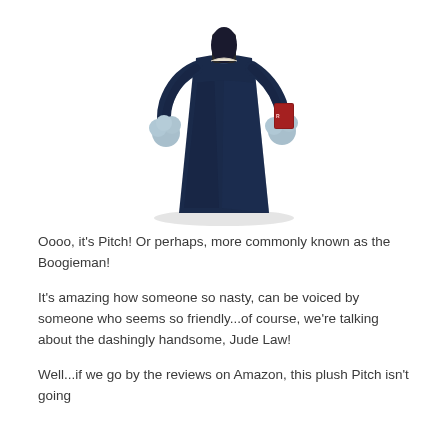[Figure (photo): A plush toy figure of Pitch (the Boogieman), wearing a dark navy blue robe-like costume with light blue fuzzy hands/claws, holding what appears to be a small book or card. The figure has a conical body shape widening at the base.]
Oooo, it's Pitch! Or perhaps, more commonly known as the Boogieman!
It's amazing how someone so nasty, can be voiced by someone who seems so friendly...of course, we're talking about the dashingly handsome, Jude Law!
Well...if we go by the reviews on Amazon, this plush Pitch isn't going